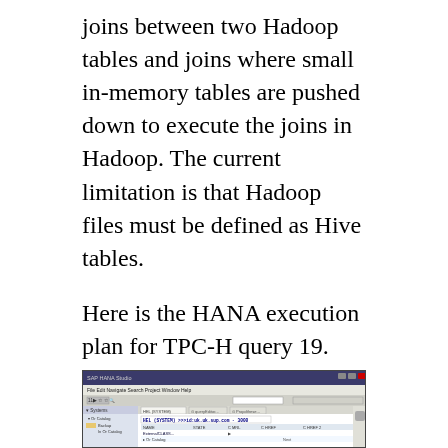joins between two Hadoop tables and joins where small in-memory tables are pushed down to execute the joins in Hadoop. The current limitation is that Hadoop files must be defined as Hive tables.
Here is the HANA execution plan for TPC-H query 19. HANA has pushed down all of the steps behind the Remote Row Scan step... so in this case the entire query including a nested loop join was pushed down. In other queries HANA will push only parts of the plan to Hadoop.
[Figure (screenshot): Screenshot of a software application (appears to be SAP HANA Studio or similar IDE) showing a query execution plan interface with navigation panels and a main content area displaying query plan details.]